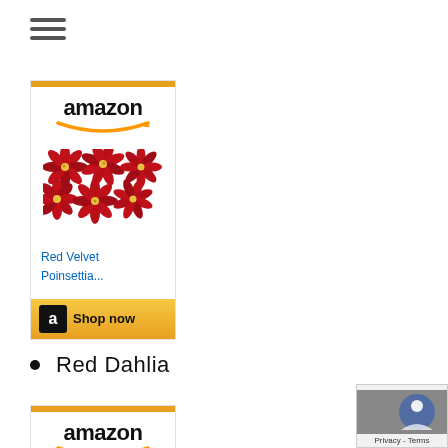[Figure (other): Hamburger menu icon with three horizontal lines]
[Figure (other): Amazon advertisement card showing Red Velvet Poinsettia flowers with 'Shop now' button]
Red Dahlia
[Figure (other): Amazon advertisement card (partial, bottom of page) showing Amazon logo]
[Figure (other): Privacy badge overlay in bottom right corner with 'Privacy - Terms' text]